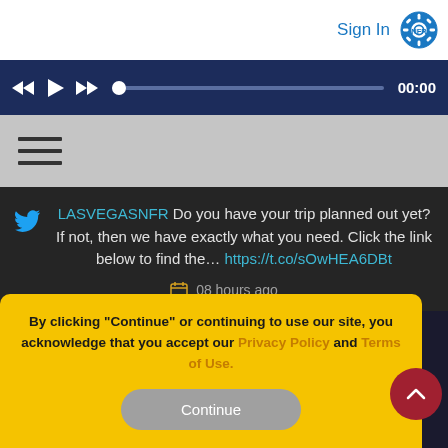Sign In
[Figure (screenshot): Media player controls bar with rewind, play, fast-forward buttons, progress slider, and 00:00 time display on dark navy background]
[Figure (screenshot): Gray navigation bar with hamburger menu icon (three horizontal lines)]
LASVEGASNFR Do you have your trip planned out yet? If not, then we have exactly what you need. Click the link below to find the... https://t.co/sOwHEA6DBt 08 hours ago
By clicking "Continue" or continuing to use our site, you acknowledge that you accept our Privacy Policy and Terms of Use.
Continue